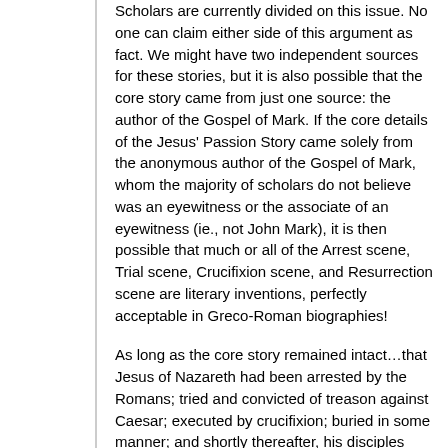Scholars are currently divided on this issue. No one can claim either side of this argument as fact. We might have two independent sources for these stories, but it is also possible that the core story came from just one source: the author of the Gospel of Mark. If the core details of the Jesus' Passion Story came solely from the anonymous author of the Gospel of Mark, whom the majority of scholars do not believe was an eyewitness or the associate of an eyewitness (ie., not John Mark), it is then possible that much or all of the Arrest scene, Trial scene, Crucifixion scene, and Resurrection scene are literary inventions, perfectly acceptable in Greco-Roman biographies!
As long as the core story remained intact…that Jesus of Nazareth had been arrested by the Romans; tried and convicted of treason against Caesar; executed by crucifixion; buried in some manner; and shortly thereafter, his disciples believed that he appeared to them, in some fashion…the other details found in the Passion Narrative may be literary invention (fiction)! Think of that! It would certainly answer a lot of questions. Why does (the original) Resurrection Story in Mark have zero appearance stories? Why does the Gospel of